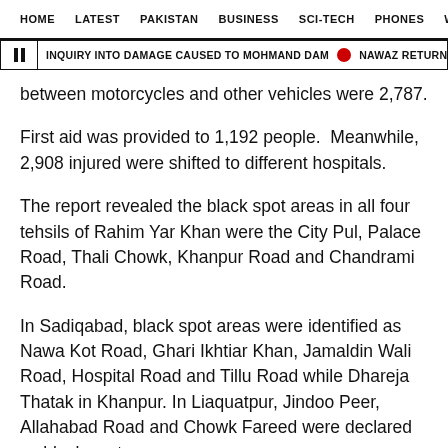HOME   LATEST   PAKISTAN   BUSINESS   SCI-TECH   PHONES   W ☰
⏸ INQUIRY INTO DAMAGE CAUSED TO MOHMAND DAM 🔴 NAWAZ RETURNS TO COUNT
between motorcycles and other vehicles were 2,787.
First aid was provided to 1,192 people.  Meanwhile, 2,908 injured were shifted to different hospitals.
The report revealed the black spot areas in all four tehsils of Rahim Yar Khan were the City Pul, Palace Road, Thali Chowk, Khanpur Road and Chandrami Road.
In Sadiqabad, black spot areas were identified as Nawa Kot Road, Ghari Ikhtiar Khan, Jamaldin Wali Road, Hospital Road and Tillu Road while Dhareja Thatak in Khanpur. In Liaquatpur, Jindoo Peer, Allahabad Road and Chowk Fareed were declared as black spot areas.